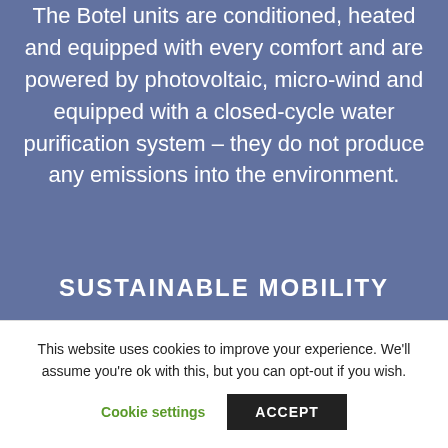The Botel units are conditioned, heated and equipped with every comfort and are powered by photovoltaic, micro-wind and equipped with a closed-cycle water purification system – they do not produce any emissions into the environment.
SUSTAINABLE MOBILITY
This website uses cookies to improve your experience. We'll assume you're ok with this, but you can opt-out if you wish.